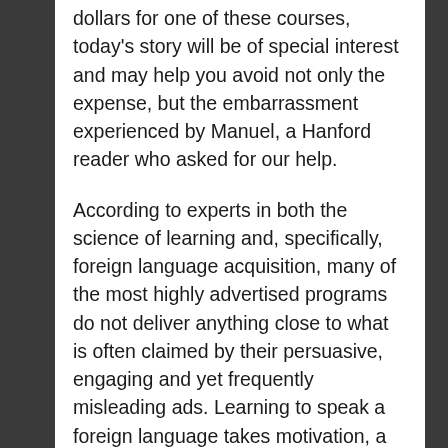dollars for one of these courses, today's story will be of special interest and may help you avoid not only the expense, but the embarrassment experienced by Manuel, a Hanford reader who asked for our help.
According to experts in both the science of learning and, specifically, foreign language acquisition, many of the most highly advertised programs do not deliver anything close to what is often claimed by their persuasive, engaging and yet frequently misleading ads. Learning to speak a foreign language takes motivation, a deep commitment and a great deal of time – often years – depending upon how different the language is from others which you know.
“You are not going to acquire fluency in 10 days or 10